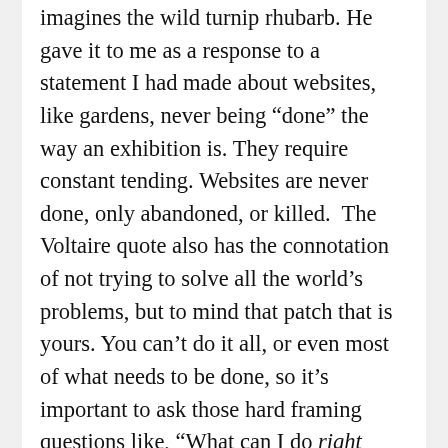imagines the wild turnip rhubarb. He gave it to me as a response to a statement I had made about websites, like gardens, never being “done” the way an exhibition is. They require constant tending. Websites are never done, only abandoned, or killed.  The Voltaire quote also has the connotation of not trying to solve all the world’s problems, but to mind that patch that is yours. You can’t do it all, or even most of what needs to be done, so it’s important to ask those hard framing questions like, “What can I do right now? How will doing that lay a foundation so that I can do better tomorrow?”
Professional networks are much like websites, in that both require regular nourishment. Despite the best intentions, I never managed to keep in